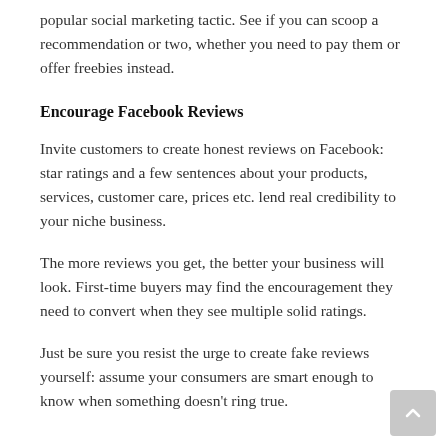popular social marketing tactic. See if you can scoop a recommendation or two, whether you need to pay them or offer freebies instead.
Encourage Facebook Reviews
Invite customers to create honest reviews on Facebook: star ratings and a few sentences about your products, services, customer care, prices etc. lend real credibility to your niche business.
The more reviews you get, the better your business will look. First-time buyers may find the encouragement they need to convert when they see multiple solid ratings.
Just be sure you resist the urge to create fake reviews yourself: assume your consumers are smart enough to know when something doesn't ring true.